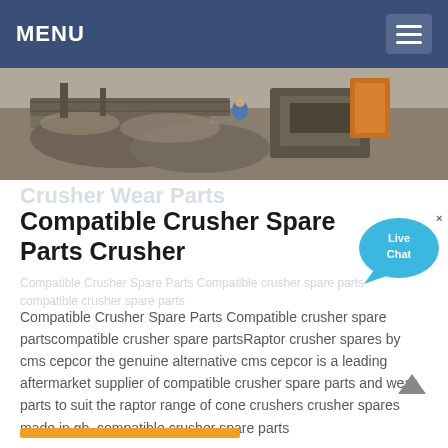MENU
[Figure (photo): Industrial crusher/mining equipment at a worksite, aerial/side view showing machinery processing rock material]
Crusher Wear Parts
Compatible Crusher Spare Parts Crusher
Compatible Crusher Spare Parts Compatible crusher spare partscompatible crusher spare partsRaptor crusher spares by cms cepcor the genuine alternative cms cepcor is a leading aftermarket supplier of compatible crusher spare parts and wear parts to suit the raptor range of cone crushers crusher spares made in gb, compatible crusher spare parts